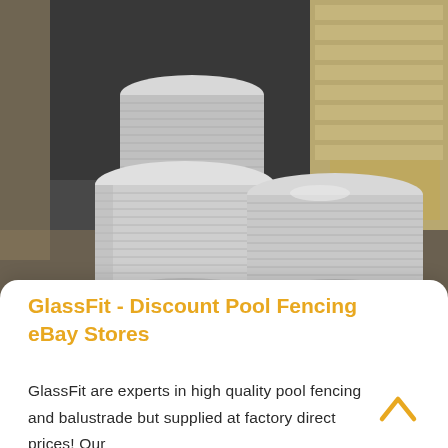[Figure (photo): Warehouse photo showing large stacks of circular aluminum/glass discs piled on pallets on a concrete floor, with wooden pallets and crates visible in the background.]
GlassFit - Discount Pool Fencing eBay Stores
GlassFit are experts in high quality pool fencing and balustrade but supplied at factory direct prices! Our